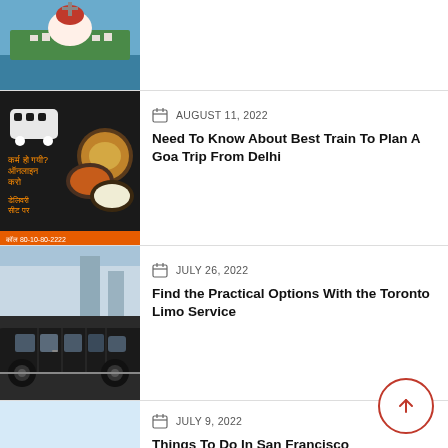[Figure (photo): Partial view of a destination image (church/fort area by water), cropped at top of page]
[Figure (photo): Train food/travel ad image with Hindi text and Indian food dishes]
AUGUST 11, 2022
Need To Know About Best Train To Plan A Goa Trip From Delhi
[Figure (photo): Black limousine car side view in city]
JULY 26, 2022
Find the Practical Options With the Toronto Limo Service
[Figure (photo): Light blue placeholder/partial image]
JULY 9, 2022
Things To Do In San Francisco